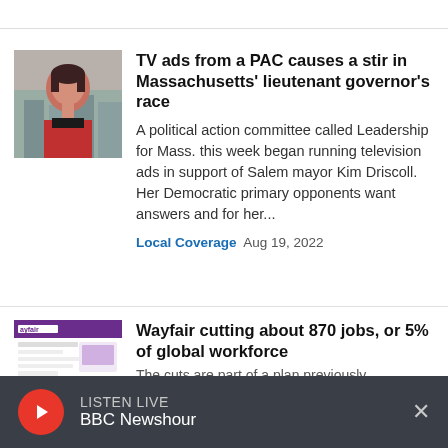[Figure (photo): Portrait photo of a woman in a red jacket]
TV ads from a PAC causes a stir in Massachusetts' lieutenant governor's race
A political action committee called Leadership for Mass. this week began running television ads in support of Salem mayor Kim Driscoll. Her Democratic primary opponents want answers and for her...
Local Coverage   Aug 19, 2022
[Figure (screenshot): Screenshot of Wayfair website]
Wayfair cutting about 870 jobs, or 5% of global workforce
The cuts are part of a plan previously...
LISTEN LIVE BBC Newshour